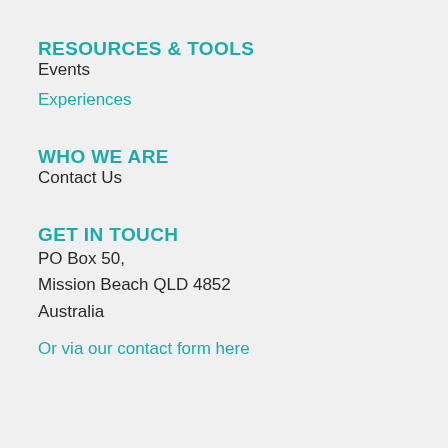RESOURCES & TOOLS
Events
Experiences
WHO WE ARE
Contact Us
GET IN TOUCH
PO Box 50,
Mission Beach QLD 4852
Australia
Or via our contact form here